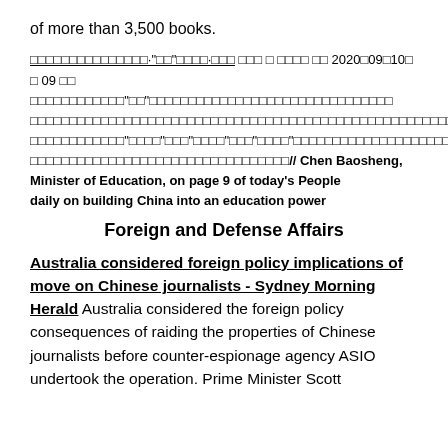of more than 3,500 books.
Chinese text block with underlined citation header and date 2020年09月10日 09时, followed by Chinese body text discussing education topics including bold translation: // Chen Baosheng, Minister of Education, on page 9 of today's People daily on building China into an education power
Foreign and Defense Affairs
Australia considered foreign policy implications of move on Chinese journalists - Sydney Morning Herald Australia considered the foreign policy consequences of raiding the properties of Chinese journalists before counter-espionage agency ASIO undertook the operation. Prime Minister Scott